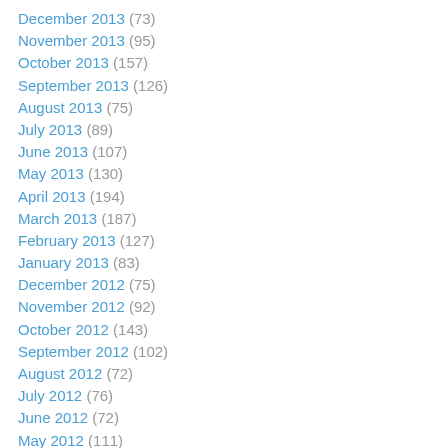December 2013 (73)
November 2013 (95)
October 2013 (157)
September 2013 (126)
August 2013 (75)
July 2013 (89)
June 2013 (107)
May 2013 (130)
April 2013 (194)
March 2013 (187)
February 2013 (127)
January 2013 (83)
December 2012 (75)
November 2012 (92)
October 2012 (143)
September 2012 (102)
August 2012 (72)
July 2012 (76)
June 2012 (72)
May 2012 (111)